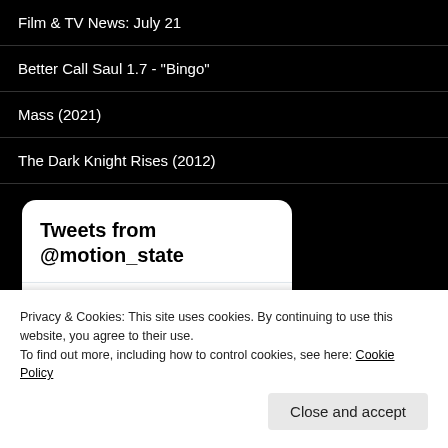Film & TV News: July 21
Better Call Saul 1.7 - "Bingo"
Mass (2021)
The Dark Knight Rises (2012)
[Figure (screenshot): Twitter widget showing 'Tweets from @motion_state' header, with a tweet from Motion Sta... account dated Jul 9, 2021, showing a profile avatar and blue Twitter bird icon]
Privacy & Cookies: This site uses cookies. By continuing to use this website, you agree to their use.
To find out more, including how to control cookies, see here: Cookie Policy
Close and accept